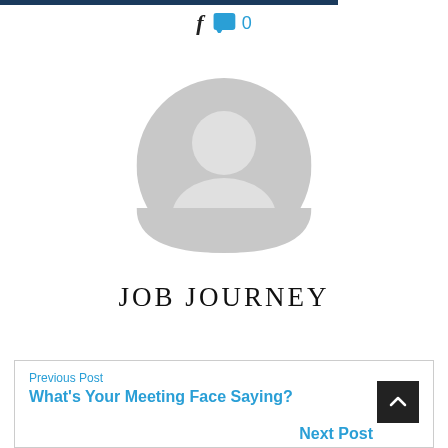[Figure (other): Dark blue horizontal bar at top of page]
[Figure (other): Social icons: Facebook f icon and blue speech bubble with 0 comment count]
[Figure (other): Grey circular avatar/user placeholder image with head and shoulders silhouette]
JOB JOURNEY
Previous Post
What's Your Meeting Face Saying?
Next Post